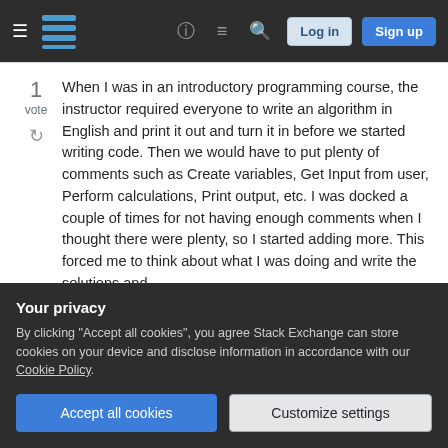Stack Exchange navigation bar with hamburger menu, logo, help, chat, search icons, Log in and Sign up buttons
When I was in an introductory programming course, the instructor required everyone to write an algorithm in English and print it out and turn it in before we started writing code. Then we would have to put plenty of comments such as Create variables, Get Input from user, Perform calculations, Print output, etc. I was docked a couple of times for not having enough comments when I thought there were plenty, so I started adding more. This forced me to think about what I was doing and write the solutions and
Your privacy
By clicking "Accept all cookies", you agree Stack Exchange can store cookies on your device and disclose information in accordance with our Cookie Policy.
Accept all cookies
Customize settings